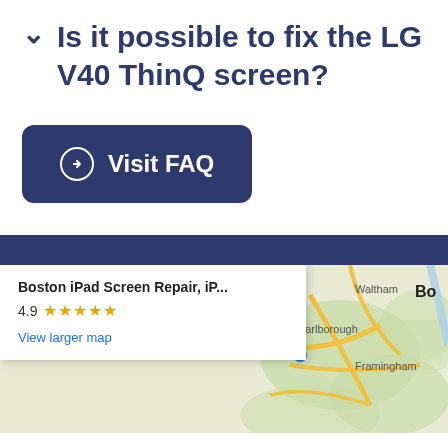Is it possible to fix the LG V40 ThinQ screen?
Visit FAQ
[Figure (map): Google Maps embed showing Boston area with popup info card for 'Boston iPad Screen Repair, iP...' rated 4.9 stars, with a 'View larger map' link. Map shows Marlborough, Framingham, Waltham, and Bo (Boston) labels.]